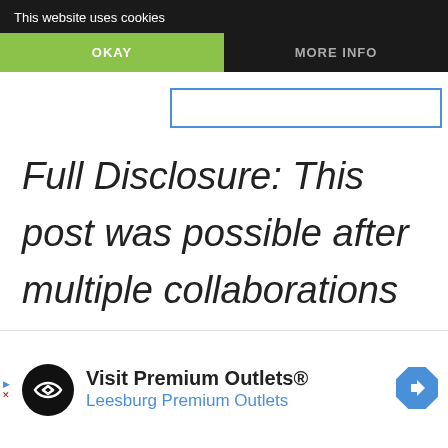This website uses cookies
OKAY
MORE INFO
Full Disclosure: This post was possible after multiple collaborations with Ski Idaho. I am so excited to be able to share this biking road trip with
[Figure (screenshot): Advertisement banner: Visit Premium Outlets® Leesburg Premium Outlets with logo and navigation icon]